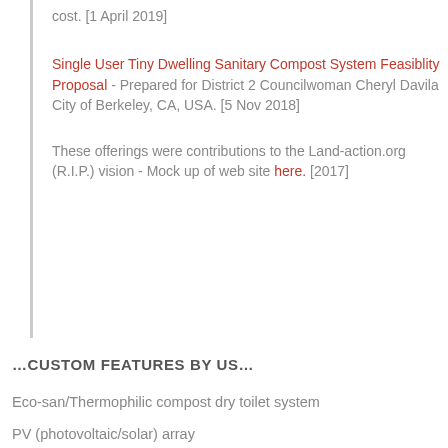cost. [1 April 2019]
Single User Tiny Dwelling Sanitary Compost System Feasiblity Proposal - Prepared for District 2 Councilwoman Cheryl Davila City of Berkeley, CA, USA. [5 Nov 2018]
These offerings were contributions to the Land-action.org (R.I.P.) vision - Mock up of web site here. [2017]
…CUSTOM FEATURES BY US…
Eco-san/Thermophilic compost dry toilet system
PV (photovoltaic/solar) array